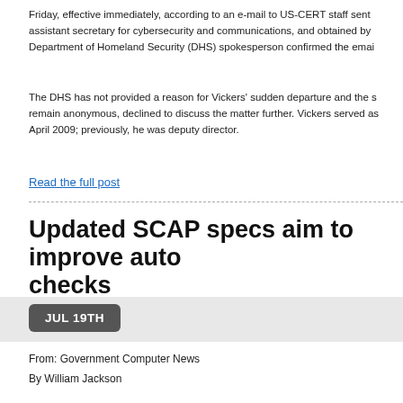Friday, effective immediately, according to an e-mail to US-CERT staff sent assistant secretary for cybersecurity and communications, and obtained by Department of Homeland Security (DHS) spokesperson confirmed the emai
The DHS has not provided a reason for Vickers' sudden departure and the s remain anonymous, declined to discuss the matter further. Vickers served as April 2009; previously, he was deputy director.
Read the full post
Updated SCAP specs aim to improve auto checks
JUL 19TH
From: Government Computer News
By William Jackson
The Security Content Automation Protocol (SCAP), which helps agencies en networks, is being updated with four new specifications for automated secu information systems.
Drafts of the new specs have been released by the National Institute of Star Special Publication 800-126 Revision 2. "The Technical Specification fo